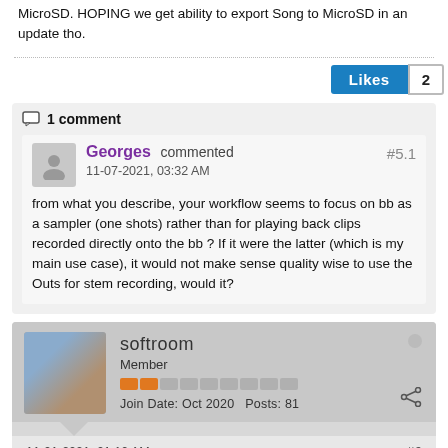MicroSD. HOPING we get ability to export Song to MicroSD in an update tho.
Likes  2
1 comment
Georges commented  #5.1  11-07-2021, 03:32 AM
from what you describe, your workflow seems to focus on bb as a sampler (one shots) rather than for playing back clips recorded directly onto the bb ? If it were the latter (which is my main use case), it would not make sense quality wise to use the Outs for stem recording, would it?
softroom  Member  Join Date: Oct 2020  Posts: 81
11-01-2021, 01:10 AM  #6
I only use multiple outs on one of my Blackboxes - they're connected to